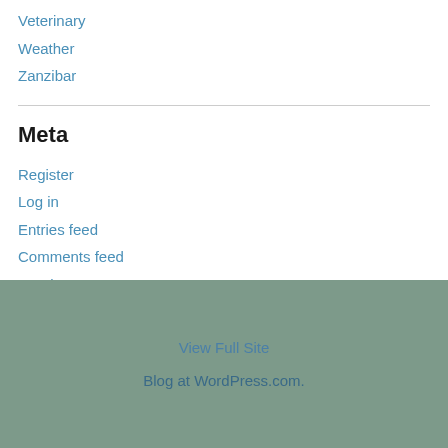Veterinary
Weather
Zanzibar
Meta
Register
Log in
Entries feed
Comments feed
WordPress.com
View Full Site
Blog at WordPress.com.